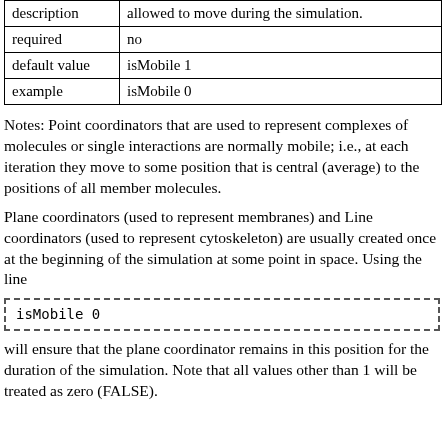| description | allowed to move during the simulation. |
| required | no |
| default value | isMobile 1 |
| example | isMobile 0 |
Notes: Point coordinators that are used to represent complexes of molecules or single interactions are normally mobile; i.e., at each iteration they move to some position that is central (average) to the positions of all member molecules.
Plane coordinators (used to represent membranes) and Line coordinators (used to represent cytoskeleton) are usually created once at the beginning of the simulation at some point in space. Using the line
isMobile 0
will ensure that the plane coordinator remains in this position for the duration of the simulation. Note that all values other than 1 will be treated as zero (FALSE).